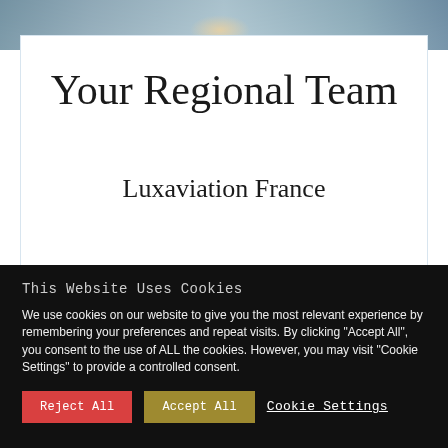[Figure (photo): Background image of a coastal/water scene with muted blue-grey tones at the top of the page]
Your Regional Team
Luxaviation France
This Website Uses Cookies
We use cookies on our website to give you the most relevant experience by remembering your preferences and repeat visits. By clicking "Accept All", you consent to the use of ALL the cookies. However, you may visit "Cookie Settings" to provide a controlled consent.
Reject All   Accept All   Cookie Settings